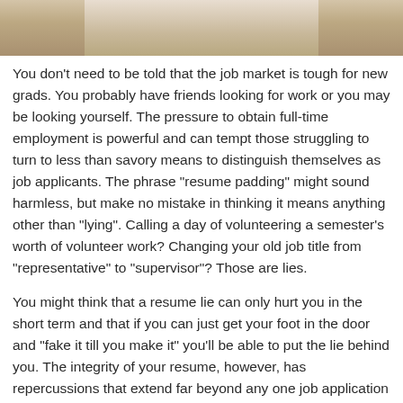[Figure (photo): Cropped photo of a person with blonde hair, only the top portion visible against a light background]
You don't need to be told that the job market is tough for new grads. You probably have friends looking for work or you may be looking yourself. The pressure to obtain full-time employment is powerful and can tempt those struggling to turn to less than savory means to distinguish themselves as job applicants. The phrase “resume padding” might sound harmless, but make no mistake in thinking it means anything other than “lying”. Calling a day of volunteering a semester’s worth of volunteer work? Changing your old job title from “representative” to “supervisor”? Those are lies.
You might think that a resume lie can only hurt you in the short term and that if you can just get your foot in the door and “fake it till you make it” you’ll be able to put the lie behind you. The integrity of your resume, however, has repercussions that extend far beyond any one job application or interview. Your resume is your first